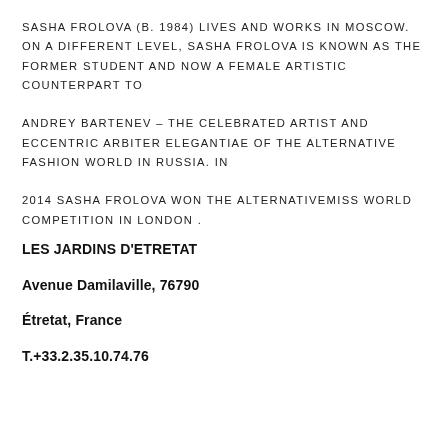SASHA FROLOVA (B. 1984) LIVES AND WORKS IN MOSCOW. ON A DIFFERENT LEVEL, SASHA FROLOVA IS KNOWN AS THE FORMER STUDENT AND NOW A FEMALE ARTISTIC COUNTERPART TO ANDREY BARTENEV – THE CELEBRATED ARTIST AND ECCENTRIC ARBITER ELEGANTIAE OF THE ALTERNATIVE FASHION WORLD IN RUSSIA. IN 2014 SASHA FROLOVA WON THE ALTERNATIVEMISS WORLD COMPETITION IN LONDON .
LES JARDINS D'ETRETAT
Avenue Damilaville, 76790
Étretat, France
T...